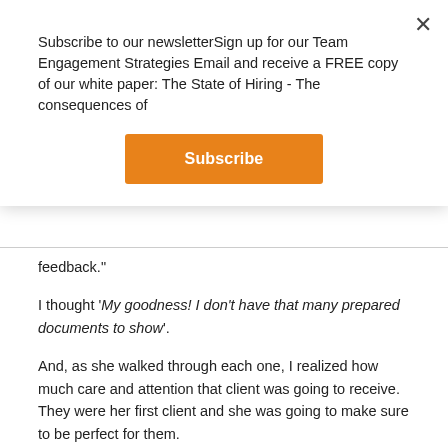Subscribe to our newsletterSign up for our Team Engagement Strategies Email and receive a FREE copy of our white paper: The State of Hiring - The consequences of
Subscribe
feedback."
I thought 'My goodness! I don't have that many prepared documents to show'.
And, as she walked through each one, I realized how much care and attention that client was going to receive. They were her first client and she was going to make sure to be perfect for them.
Then it hit me: we are always best for our firsts and